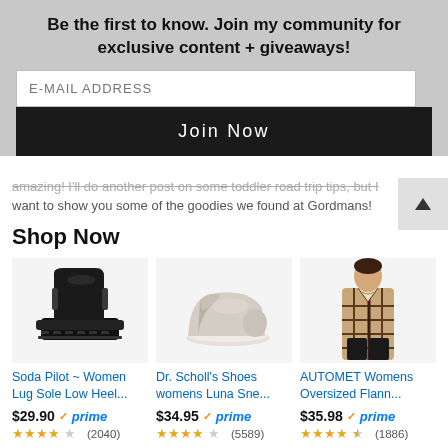Be the first to know. Join my community for exclusive content + giveaways!
E-MAIL ADDRESS
Join Now
amazing! I'll do another post on some toddler road trip tips, but I want to show you some of the goodies we found at Gordmans!
Shop Now
[Figure (photo): Black lug sole chelsea boot (Soda Pilot)]
Soda Pilot ~ Women Lug Sole Low Heel...
$29.90 ✓prime ★★★★☆ (2040)
[Figure (photo): Beige slip-on sneaker (Dr. Scholl's womens Luna Sneaker)]
Dr. Scholl's Shoes womens Luna Sne...
$34.95 ✓prime ★★★★☆ (5589)
[Figure (photo): Woman wearing plaid flannel oversized jacket (AUTOMET Womens Oversized Flannel)]
AUTOMET Womens Oversized Flann...
$35.98 ✓prime ★★★★½ (1886)